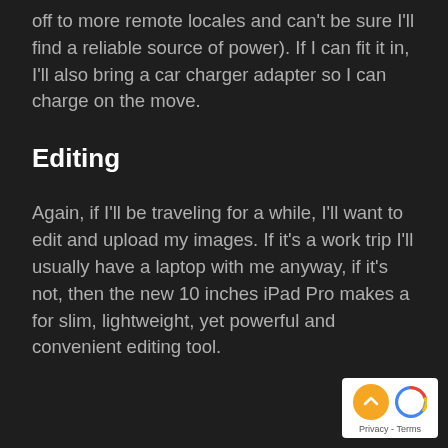off to more remote locales and can't be sure I'll find a reliable source of power). If I can fit it in, I'll also bring a car charger adapter so I can charge on the move.
Editing
Again, if I'll be traveling for a while, I'll want to edit and upload my images. If it's a work trip I'll usually have a laptop with me anyway, if it's not, then the new 10 inches iPad Pro makes a for slim, lightweight, yet powerful and convenient editing tool.